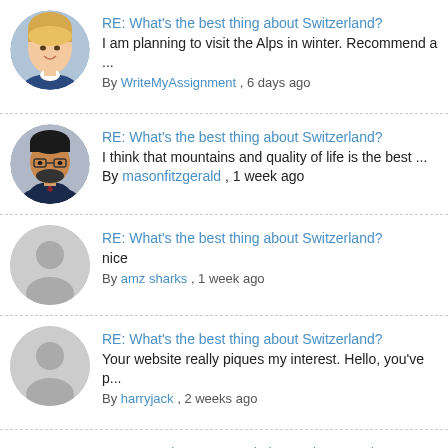RE: What's the best thing about Switzerland?
I am planning to visit the Alps in winter. Recommend a ...
By WriteMyAssignment , 6 days ago
RE: What's the best thing about Switzerland?
I think that mountains and quality of life is the best ...
By masonfitzgerald , 1 week ago
RE: What's the best thing about Switzerland?
nice
By amz sharks , 1 week ago
RE: What's the best thing about Switzerland?
Your website really piques my interest. Hello, you've p...
By harryjack , 2 weeks ago
CS101 Assignment 2 Solution Spring 2022 | CS101 Assignment 2 Solution 2022
By Vu Expert , 2 weeks ago